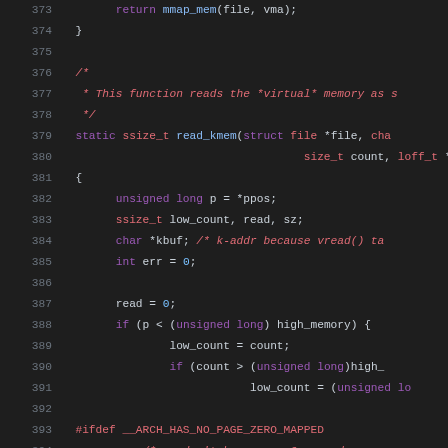[Figure (screenshot): Source code listing showing C kernel code for read_kmem function, lines 373-394, with syntax highlighting on dark background. Keywords in purple, types/comments in red/pink, identifiers in light gray, numeric literals in blue.]